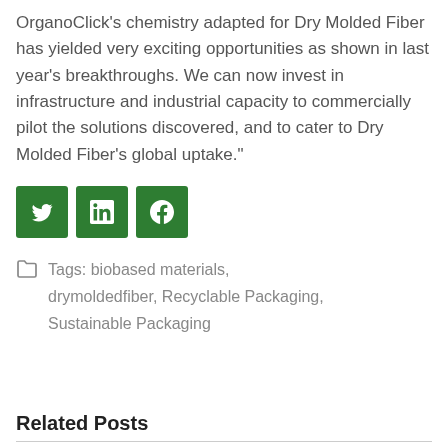OrganoClick’s chemistry adapted for Dry Molded Fiber has yielded very exciting opportunities as shown in last year’s breakthroughs. We can now invest in infrastructure and industrial capacity to commercially pilot the solutions discovered, and to cater to Dry Molded Fiber’s global uptake.”
[Figure (other): Three green social media share buttons for Twitter, LinkedIn, and Facebook]
Tags: biobased materials, drymoldedfiber, Recyclable Packaging, Sustainable Packaging
Related Posts